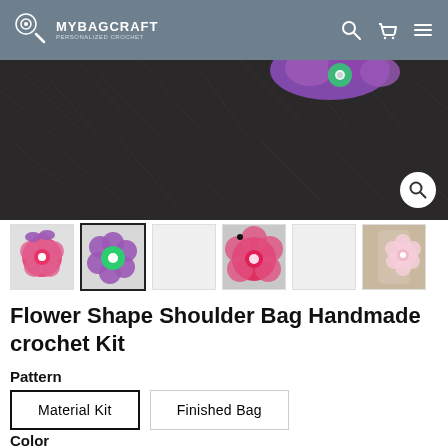MYBAGCRAFT
[Figure (photo): Close-up of a crocheted flower bag on dark fur/textile background, showing purple and green flower details. A magnifying glass zoom button appears in the bottom right corner.]
[Figure (photo): Thumbnail row of 6 product images: (1) pink/red and purple flower bag, (2) purple/green flower bag (selected), (3) blank/loading placeholder, (4) pink/red flower bag close-up, (5) blank/loading placeholder, (6) woman wearing pale pink flower bag]
Flower Shape Shoulder Bag Handmade crochet Kit
Pattern
Material Kit | Finished Bag
Color